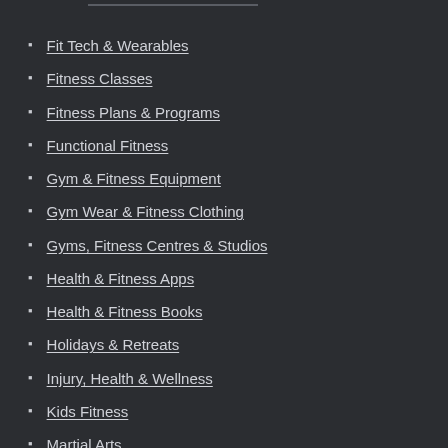Fit Tech & Wearables
Fitness Classes
Fitness Plans & Programs
Functional Fitness
Gym & Fitness Equipment
Gym Wear & Fitness Clothing
Gyms, Fitness Centres & Studios
Health & Fitness Apps
Health & Fitness Books
Holidays & Retreats
Injury, Health & Wellness
Kids Fitness
Martial Arts
Nutrition & Healthy Food